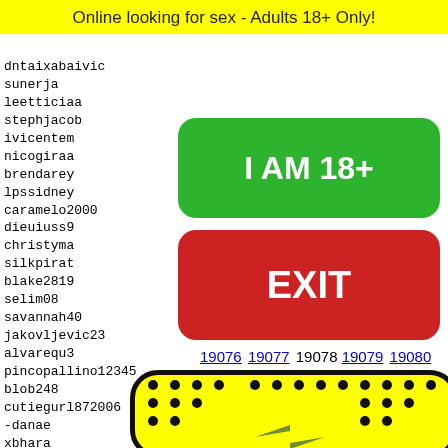Online looking for sex - Adults 18+ Only!
dntaixabaivic
sunerja
leetticiaa
stephjacob
ivicentem
nicogiraa
brendarey
lpssidney
caramelo2000
dieuiuss9
christyma
silkpirat
blake2819
selim08
savannah40
jakovljevic23
alvarequ3
pincopallino12345
blob248
cutiegurl872006
-danae
xbhara
greenco
thelas
Classy
concim
[Figure (other): Green button saying I AM 18+]
[Figure (other): Red button saying EXIT]
19076 19077 19078 19079 19080
[Figure (other): Yellow emoji/smiley face with black dots pattern and bowtie]